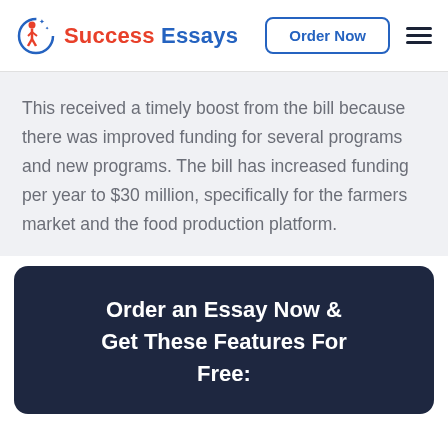Success Essays | Order Now
This received a timely boost from the bill because there was improved funding for several programs and new programs. The bill has increased funding per year to $30 million, specifically for the farmers market and the food production platform.
Order an Essay Now & Get These Features For Free: